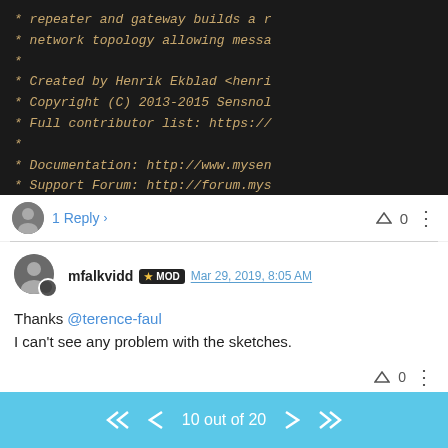[Figure (screenshot): Code block on dark background showing file header comments with author, copyright, contributor list, documentation, and support forum links in monospace italic text]
1 Reply
0
mfalkvidd MOD Mar 29, 2019, 8:05 AM
Thanks @terence-faul
I can't see any problem with the sketches.
0
skywatch Mar 29, 2019, 8:37 AM
10 out of 20